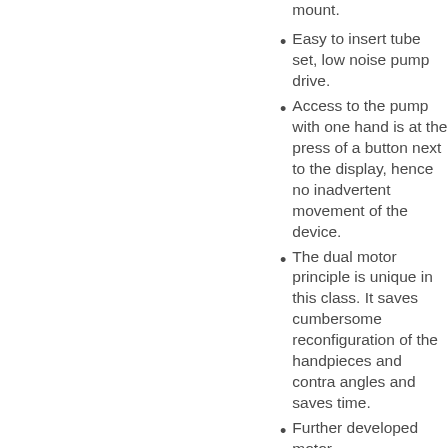mount.
Easy to insert tube set, low noise pump drive.
Access to the pump with one hand is at the press of a button next to the display, hence no inadvertent movement of the device.
The dual motor principle is unique in this class. It saves cumbersome reconfiguration of the handpieces and contra angles and saves time.
Further developed motor